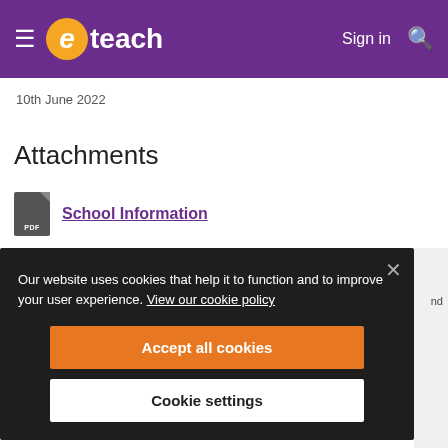eteach — Sign in
10th June 2022
Attachments
School Information
Our website uses cookies that help it to function and to improve your user experience. View our cookie policy
Accept all cookies
Cookie settings